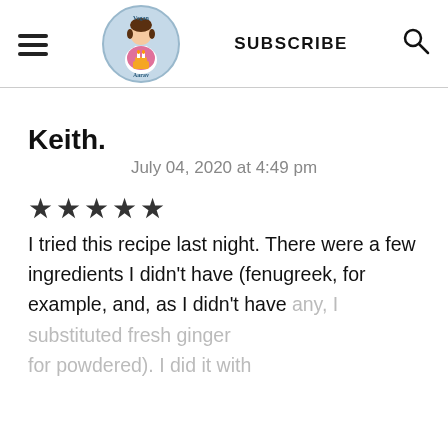Vegan Aarav | SUBSCRIBE
Keith.
July 04, 2020 at 4:49 pm
★★★★★
I tried this recipe last night. There were a few ingredients I didn't have (fenugreek, for example, and, as I didn't have any, I substituted fresh ginger for powdered). I did it with